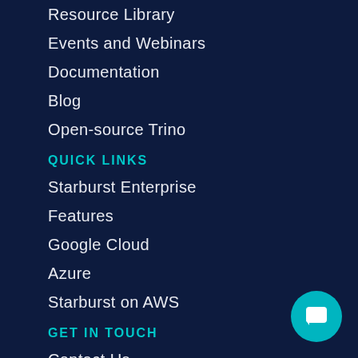Resource Library
Events and Webinars
Documentation
Blog
Open-source Trino
QUICK LINKS
Starburst Enterprise
Features
Google Cloud
Azure
Starburst on AWS
GET IN TOUCH
Contact Us
Careers
Customer Support
Trino Community Forum